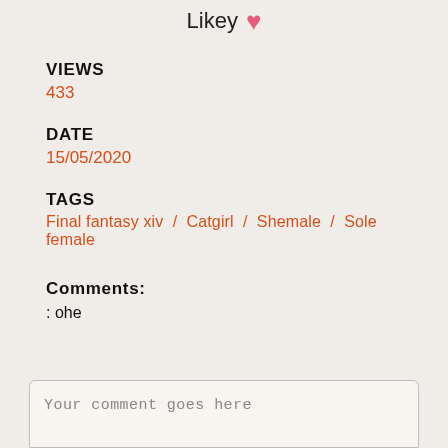Likey ♥
VIEWS
433
DATE
15/05/2020
TAGS
Final fantasy xiv / Catgirl / Shemale / Sole female
Comments:
: ohe
Your comment goes here